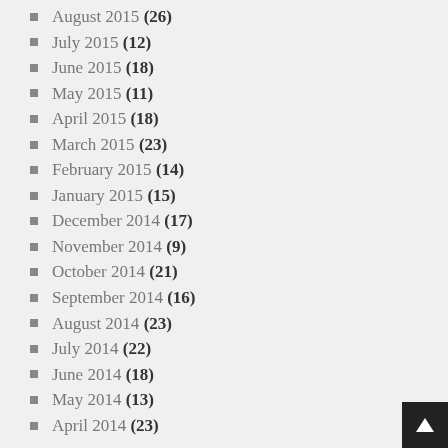August 2015 (26)
July 2015 (12)
June 2015 (18)
May 2015 (11)
April 2015 (18)
March 2015 (23)
February 2015 (14)
January 2015 (15)
December 2014 (17)
November 2014 (9)
October 2014 (21)
September 2014 (16)
August 2014 (23)
July 2014 (22)
June 2014 (18)
May 2014 (13)
April 2014 (23)